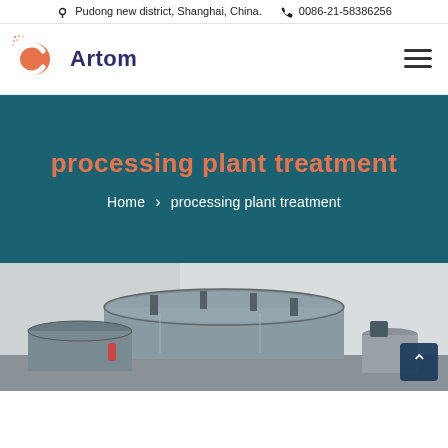Pudong new district, Shanghai, China.  0086-21-58386256
[Figure (logo): Artom company logo with red circular C icon and dark blue 'Artom' text]
processing plant treatment
Home › processing plant treatment
[Figure (photo): Industrial processing plant equipment — large metallic tanks and cylinders in a factory setting]